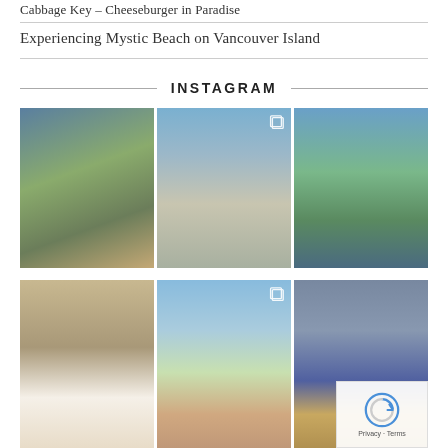Cabbage Key – Cheeseburger in Paradise
Experiencing Mystic Beach on Vancouver Island
INSTAGRAM
[Figure (photo): Group of people standing in shallow water near boats, surrounded by trees and a dock]
[Figure (photo): Couple posing in front of a large hand statue at an outdoor event with logos]
[Figure (photo): Mountain landscape with green forest and rocky peaks under blue sky]
[Figure (photo): People seated at long outdoor dining tables on a street]
[Figure (photo): Ocean view with wildflowers in foreground, person looking at the view]
[Figure (photo): Stage scene with puppet characters and blue curtain backdrop]